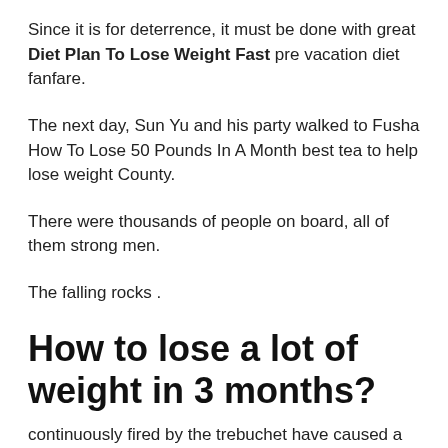Since it is for deterrence, it must be done with great Diet Plan To Lose Weight Fast pre vacation diet fanfare.
The next day, Sun Yu and his party walked to Fusha How To Lose 50 Pounds In A Month best tea to help lose weight County.
There were thousands of people on board, all of them strong men.
The falling rocks .
How to lose a lot of weight in 3 months?
continuously fired by the trebuchet have caused a great